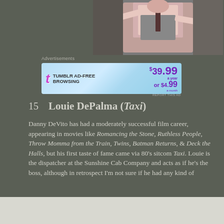[Figure (photo): Partial photo of a man in a gray vest and pink shirt with arms raised, appearing to be on a TV show set]
Advertisements
[Figure (other): Tumblr Ad-Free Browsing advertisement banner: $39.99 a year or $4.99 a month]
15   Louie DePalma (Taxi)
Danny DeVito has had a moderately successful film career, appearing in movies like Romancing the Stone, Ruthless People, Throw Momma from the Train, Twins, Batman Returns, & Deck the Halls, but his first taste of fame came via 80’s sitcom Taxi. Louie is the dispatcher at the Sunshine Cab Company and acts as if he’s the boss, although in retrospect I’m not sure if he had any kind of
Advertisements
[Figure (other): WordPress.com advertisement: Build Your Website button]